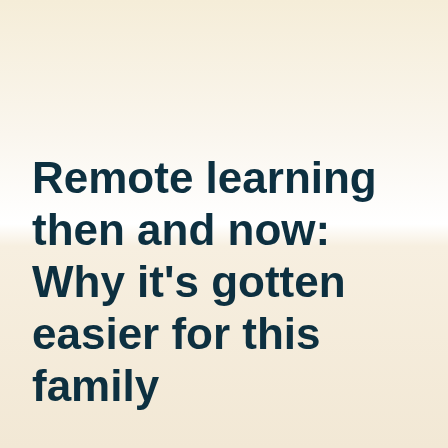Remote learning then and now: Why it’s gotten easier for this family